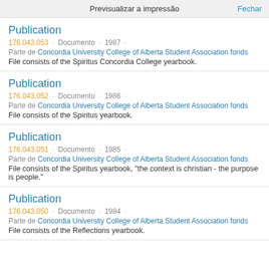Previsualizar a impressão   Fechar
Publication
176.043.053 · Documento · 1987 ·
Parte de Concordia University College of Alberta Student Association fonds
File consists of the Spiritus Concordia College yearbook.
Publication
176.043.052 · Documento · 1986 ·
Parte de Concordia University College of Alberta Student Association fonds
File consists of the Spiritus yearbook.
Publication
176.043.051 · Documento · 1985 ·
Parte de Concordia University College of Alberta Student Association fonds
File consists of the Spiritus yearbook, "the context is christian - the purpose is people."
Publication
176.043.050 · Documento · 1984 ·
Parte de Concordia University College of Alberta Student Association fonds
File consists of the Reflections yearbook.